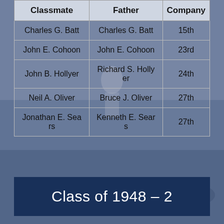| Classmate | Father | Company |
| --- | --- | --- |
| Charles G. Batt | Charles G. Batt | 15th |
| John E. Cohoon | John E. Cohoon | 23rd |
| John B. Hollyer | Richard S. Hollyer | 24th |
| Neil A. Oliver | Bruce J. Oliver | 27th |
| Jonathan E. Sears | Kenneth E. Sears | 27th |
Class of 1948 – 2